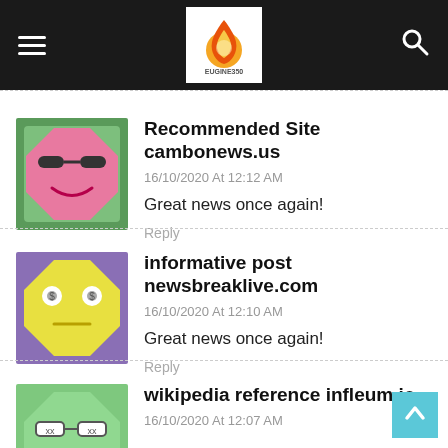eugine350 site header with hamburger menu, logo, and search icon
Recommended Site cambonews.us
16/10/2020 At 12:12 AM
Great news once again!
Reply
informative post newsbreaklive.com
16/10/2020 At 12:10 AM
Great news once again!
Reply
wikipedia reference infleum.io
16/10/2020 At 12:07 AM